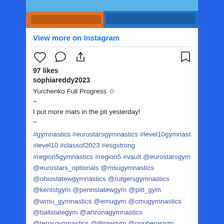[Figure (photo): Gymnastics mat/pit area with blue and orange padding, partial view at top of card]
View more on Instagram
97 likes
sophiareddy2023
Yurchenko Full Progress 😊
~
I put more mats in the pit yesterday!
~
#gymnastics #eurostarsgymnastics #level10gymnast #level10 #classof2023 #esgstrong #region5gymnastics #region5 #vault @eurostarsgym @eurostars_optionals @msugymnastics @ohiostatewgymnastics @rutgersgymnastics @kentstgym @pennstatewgym @pitt_gym @wmu_gymnastics @emugym @cmugymnastics @ballstategym @arizonagymnastics @terpsgymnastics @illiniwgym @gopherwgym @cyclonegym @iowtgymnastics @liugymnastics @iowallhighers @tennesseeactivities